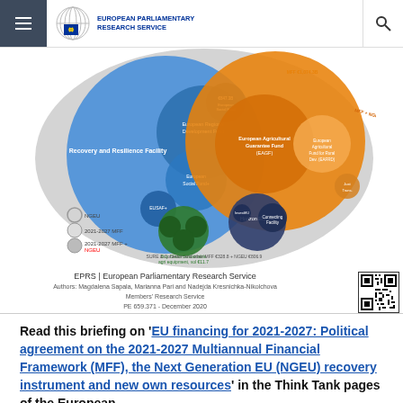EUROPEAN PARLIAMENTARY RESEARCH SERVICE
[Figure (infographic): Bubble/circle diagram showing EU financing instruments for 2021-2027 MFF including Recovery and Resilience Facility, European Regional Development Fund, European Social Fund+, EUSAF, European Agricultural Guarantee Fund (EAGF), Horizon Europe, and other instruments shown as overlapping colored circles on grey background. Includes legend for NGEU, 2021-2027 MFF, and 2021-2027 MFF + NGEU.]
EPRS | European Parliamentary Research Service
Authors: Magdalena Sapala, Marianna Pari and Nadejda Kresnichka-Nikolchova
Members' Research Service
PE 659.371 - December 2020
Read this briefing on 'EU financing for 2021-2027: Political agreement on the 2021-2027 Multiannual Financial Framework (MFF), the Next Generation EU (NGEU) recovery instrument and new own resources' in the Think Tank pages of the European Parliament.